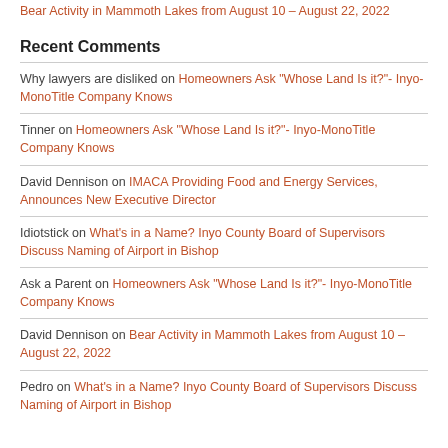Bear Activity in Mammoth Lakes from August 10 – August 22, 2022
Recent Comments
Why lawyers are disliked on Homeowners Ask "Whose Land Is it?"- Inyo-MonoTitle Company Knows
Tinner on Homeowners Ask "Whose Land Is it?"- Inyo-MonoTitle Company Knows
David Dennison on IMACA Providing Food and Energy Services, Announces New Executive Director
Idiotstick on What's in a Name? Inyo County Board of Supervisors Discuss Naming of Airport in Bishop
Ask a Parent on Homeowners Ask "Whose Land Is it?"- Inyo-MonoTitle Company Knows
David Dennison on Bear Activity in Mammoth Lakes from August 10 – August 22, 2022
Pedro on What's in a Name? Inyo County Board of Supervisors Discuss Naming of Airport in Bishop